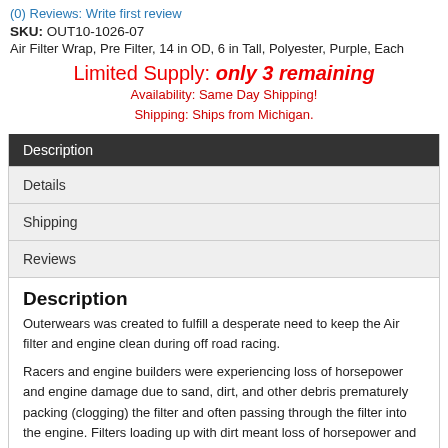(0) Reviews: Write first review
SKU: OUT10-1026-07
Air Filter Wrap, Pre Filter, 14 in OD, 6 in Tall, Polyester, Purple, Each
Limited Supply: only 3 remaining
Availability: Same Day Shipping!
Shipping: Ships from Michigan.
Description
Details
Shipping
Reviews
Description
Outerwears was created to fulfill a desperate need to keep the Air filter and engine clean during off road racing.
Racers and engine builders were experiencing loss of horsepower and engine damage due to sand, dirt, and other debris prematurely packing (clogging) the filter and often passing through the filter into the engine. Filters loading up with dirt meant loss of horsepower and in many cases loss of a race. Race crews were noticing severe engine damage due to dirt entering into the engine. Thus, a true need for a